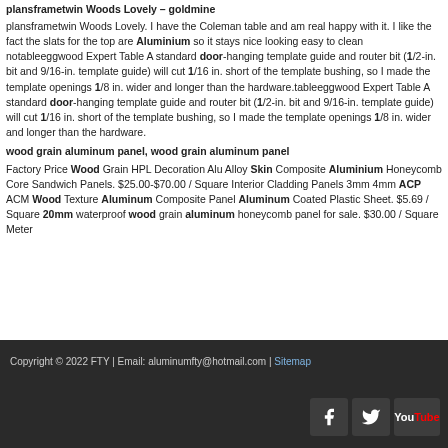plansframetwin Woods Lovely – goldmine
plansframetwin Woods Lovely. I have the Coleman table and am real happy with it. I like the fact the slats for the top are Aluminium so it stays nice looking easy to clean notableeggwood Expert Table A standard door-hanging template guide and router bit (1/2-in. bit and 9/16-in. template guide) will cut 1/16 in. short of the template bushing, so I made the template openings 1/8 in. wider and longer than the hardware.tableeggwood Expert Table A standard door-hanging template guide and router bit (1/2-in. bit and 9/16-in. template guide) will cut 1/16 in. short of the template bushing, so I made the template openings 1/8 in. wider and longer than the hardware.
wood grain aluminum panel, wood grain aluminum panel
Factory Price Wood Grain HPL Decoration Alu Alloy Skin Composite Aluminium Honeycomb Core Sandwich Panels. $25.00-$70.00 / Square Interior Cladding Panels 3mm 4mm ACP ACM Wood Texture Aluminum Composite Panel Aluminum Coated Plastic Sheet. $5.69 / Square 20mm waterproof wood grain aluminum honeycomb panel for sale. $30.00 / Square Meter
Copyright © 2022 FTY | Email: aluminumfty@hotmail.com | Sitemap